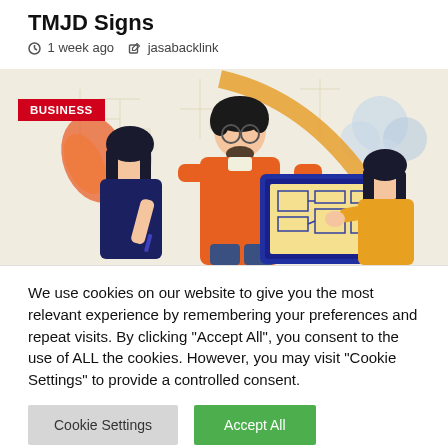TMJD Signs
1 week ago   jasabacklink
[Figure (illustration): Business illustration showing three people collaborating around a laptop/tablet with a circuit board display. A badge reads BUSINESS in the top left. Colorful flat-style illustration with orange, blue, and yellow tones, tech/cloud motifs in background.]
We use cookies on our website to give you the most relevant experience by remembering your preferences and repeat visits. By clicking "Accept All", you consent to the use of ALL the cookies. However, you may visit "Cookie Settings" to provide a controlled consent.
Cookie Settings   Accept All